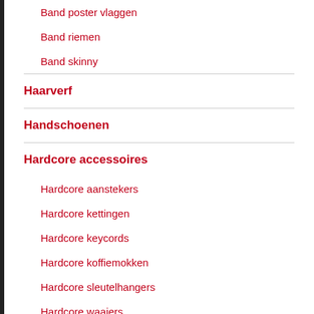Band poster vlaggen
Band riemen
Band skinny
Haarverf
Handschoenen
Hardcore accessoires
Hardcore aanstekers
Hardcore kettingen
Hardcore keycords
Hardcore koffiemokken
Hardcore sleutelhangers
Hardcore waaiers
Hardcore zweetbandjes
Portemonee hardcore